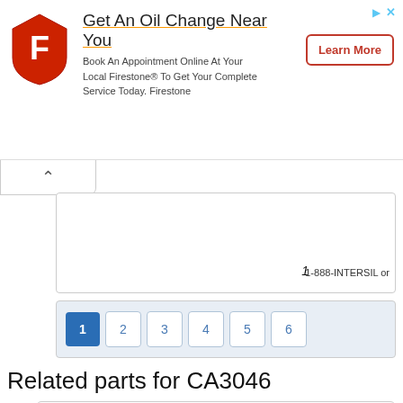[Figure (screenshot): Firestone advertisement banner with shield logo, 'Get An Oil Change Near You' heading, body text about booking appointment online, and a 'Learn More' button]
1   1-888-INTERSIL or
1  2  3  4  5  6
Related parts for CA3046
[Figure (logo): Intersil company logo with stylized 's' character]